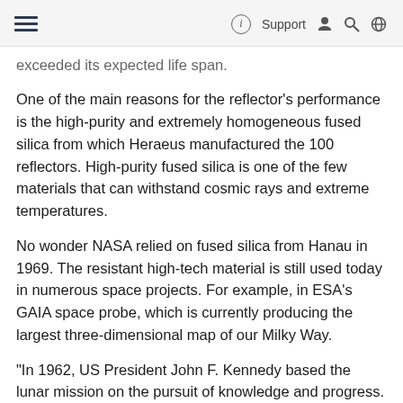≡  ⓘ Support 👤 🔍 🌐
exceeded its expected life span.
One of the main reasons for the reflector's performance is the high-purity and extremely homogeneous fused silica from which Heraeus manufactured the 100 reflectors. High-purity fused silica is one of the few materials that can withstand cosmic rays and extreme temperatures.
No wonder NASA relied on fused silica from Hanau in 1969. The resistant high-tech material is still used today in numerous space projects. For example, in ESA's GAIA space probe, which is currently producing the largest three-dimensional map of our Milky Way.
"In 1962, US President John F. Kennedy based the lunar mission on the pursuit of knowledge and progress. For the last 50 years, the laser reflector has made this vision come true," says Heinz Fabian, Global Head of Heraeus Conamic. "We are proud to have been part of this historic mission."